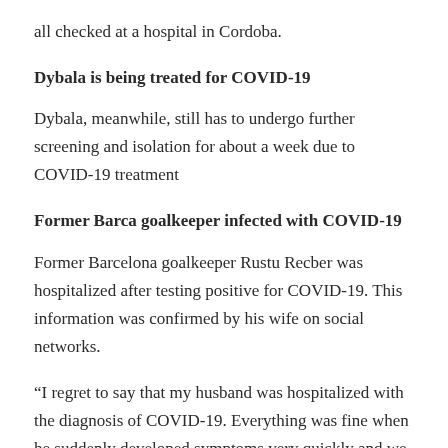all checked at a hospital in Cordoba.
Dybala is being treated for COVID-19
Dybala, meanwhile, still has to undergo further screening and isolation for about a week due to COVID-19 treatment
Former Barca goalkeeper infected with COVID-19
Former Barcelona goalkeeper Rustu Recber was hospitalized after testing positive for COVID-19. This information was confirmed by his wife on social networks.
“I regret to say that my husband was hospitalized with the diagnosis of COVID-19. Everything was fine when he suddenly developed symptoms very quickly and we were still in a state of shock. These are important and difficult times,” announced